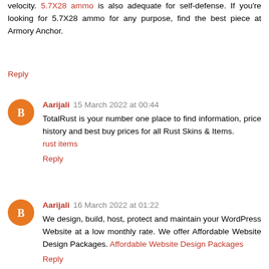velocity. 5.7X28 ammo is also adequate for self-defense. If you're looking for 5.7X28 ammo for any purpose, find the best piece at Armory Anchor.
Reply
Aarijali  15 March 2022 at 00:44
TotalRust is your number one place to find information, price history and best buy prices for all Rust Skins & Items. rust items
Reply
Aarijali  16 March 2022 at 01:22
We design, build, host, protect and maintain your WordPress Website at a low monthly rate. We offer Affordable Website Design Packages. Affordable Website Design Packages
Reply